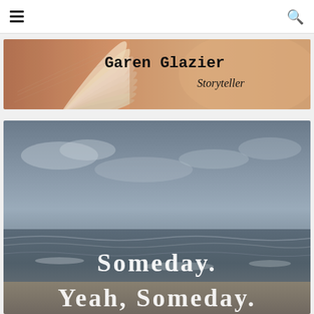Navigation header with hamburger menu and search icon
[Figure (illustration): Banner image showing an open book with pages fanned out on left side, warm blurred background on right. Text overlay reads 'Garen Glazier Storyteller' in typewriter-style font.]
[Figure (illustration): Photo of an ocean beach scene in desaturated tones with dark sky and waves. Text overlay reads 'Someday. Yeah, Someday.' in a decorative serif font, partially cut off at bottom.]